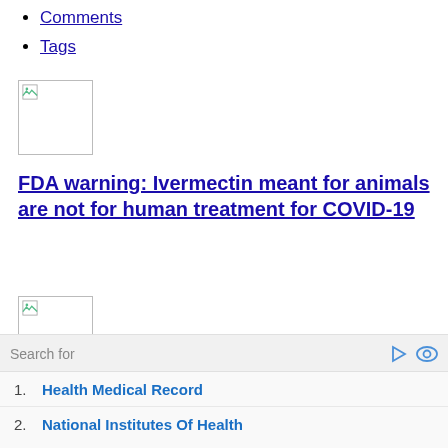Comments
Tags
[Figure (other): Broken/placeholder image thumbnail (first)]
FDA warning: Ivermectin meant for animals are not for human treatment for COVID-19
[Figure (other): Broken/placeholder image thumbnail (second)]
Ivermectin is highly effective as a safe prophylaxis and treatment for COVID-19: Comprehensive review
Search for
1. Health Medical Record
2. National Institutes Of Health